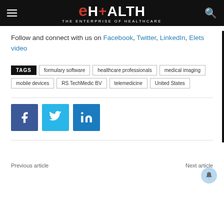eHEALTH — THE ENTERPRISE OF HEALTHCARE
Follow and connect with us on Facebook, Twitter, LinkedIn, Elets video
TAGS: formulary software, healthcare professionals, medical imaging, mobile devices, RS TechMedic BV, telemedicine, United States
[Figure (logo): Social sharing buttons: Facebook (blue), Twitter (light blue), LinkedIn (dark blue)]
Previous article
Next article